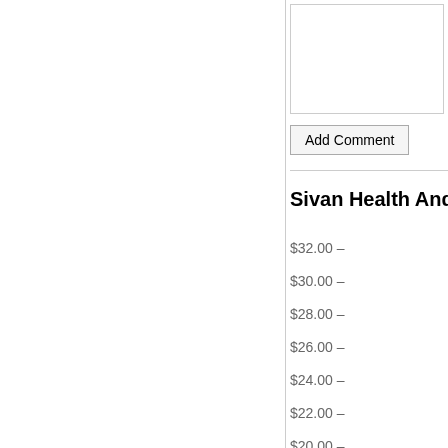[Figure (other): Comment text input box (empty textarea/input field)]
Add Comment
Sivan Health And Fit
$32.00 –
$30.00 –
$28.00 –
$26.00 –
$24.00 –
$22.00 –
$20.00 –
$18.00 –
Ma